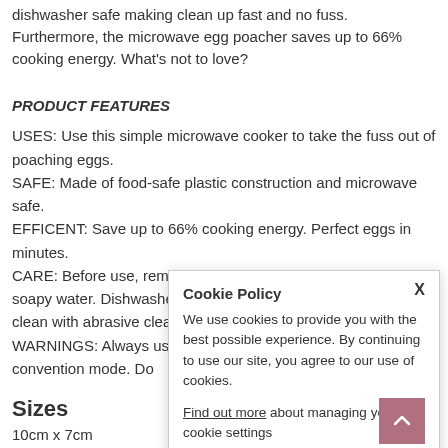dishwasher safe making clean up fast and no fuss. Furthermore, the microwave egg poacher saves up to 66% cooking energy. What's not to love?
PRODUCT FEATURES
USES: Use this simple microwave cooker to take the fuss out of poaching eggs.
SAFE: Made of food-safe plastic construction and microwave safe.
EFFICENT: Save up to 66% cooking energy. Perfect eggs in minutes.
CARE: Before use, remove all packaging and wash in warm soapy water. Dishwasher safe on the top rack only and do not clean with abrasive cleaners. This product is
WARNINGS: Always use a microwave. Do not use in on convention mode. Do
Sizes
10cm x 7cm
Cookie Policy
We use cookies to provide you with the best possible experience. By continuing to use our site, you agree to our use of cookies.
Find out more about managing your cookie settings